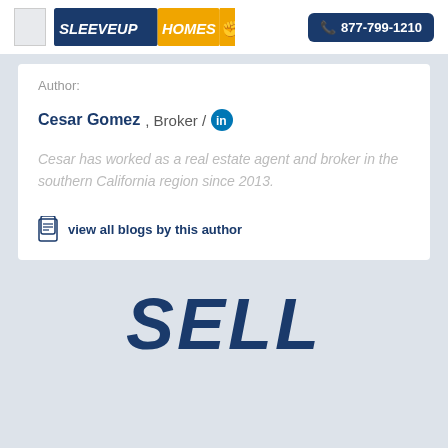SleeveUp Homes — 877-799-1210
Author:
Cesar Gomez , Broker /
Cesar has worked as a real estate agent and broker in the southern California region since 2013.
view all blogs by this author
SELL